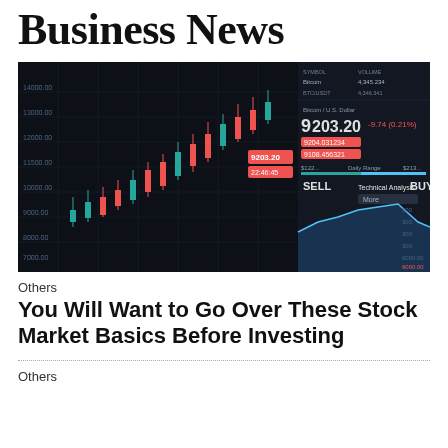Business News
[Figure (photo): Dark trading platform screenshot showing candlestick chart on the left and Bitcoin/US Dollar trading panel on the right with price 9203.20, SELL and BUY buttons visible]
Others
You Will Want to Go Over These Stock Market Basics Before Investing
Others